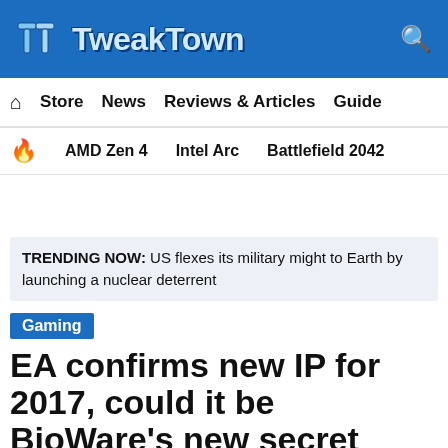TweakTown
Store  News  Reviews & Articles  Guide
AMD Zen 4  Intel Arc  Battlefield 2042
TRENDING NOW: US flexes its military might to Earth by launching a nuclear deterrent
Gaming
EA confirms new IP for 2017, could it be BioWare's new secret game?
EA confirms a new IP will be launching in 2017...